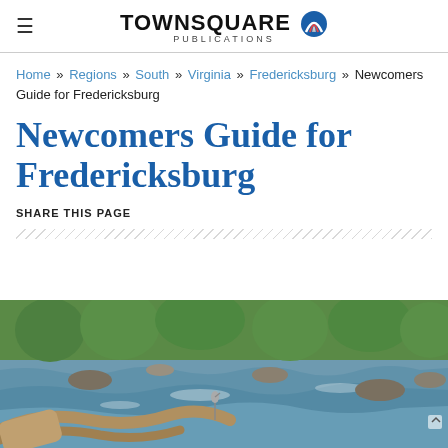TOWNSQUARE PUBLICATIONS
Home » Regions » South » Virginia » Fredericksburg » Newcomers Guide for Fredericksburg
Newcomers Guide for Fredericksburg
SHARE THIS PAGE
[Figure (photo): River scene with rocks, rushing water, driftwood in foreground, a heron standing in the water, and green trees along the banks]